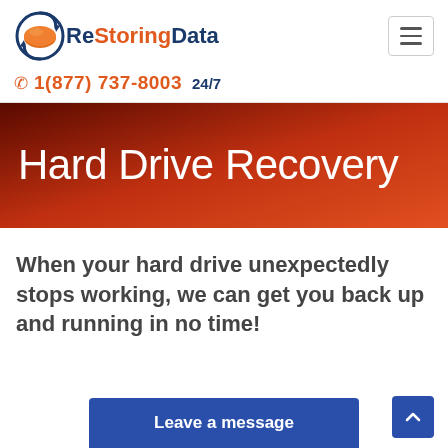[Figure (logo): ReStoringData logo with orange circular disk and blue arrow, company name in blue and orange]
1(877) 737-8003 24/7
Hard Drive Recovery
When your hard drive unexpectedly stops working, we can get you back up and running in no time!
Leave a message